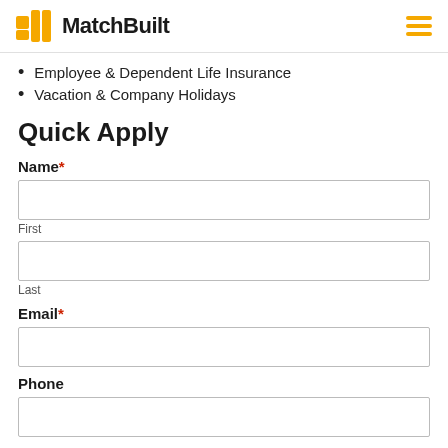MatchBuilt
Employee & Dependent Life Insurance
Vacation & Company Holidays
Quick Apply
Name *
First
Last
Email *
Phone